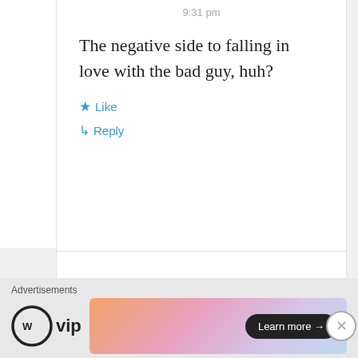9:31 pm
The negative side to falling in love with the bad guy, huh?
★ Like
↳ Reply
AJ
October 20, 2020 at 8:46 am
Advertisements
WP vip
Learn more →